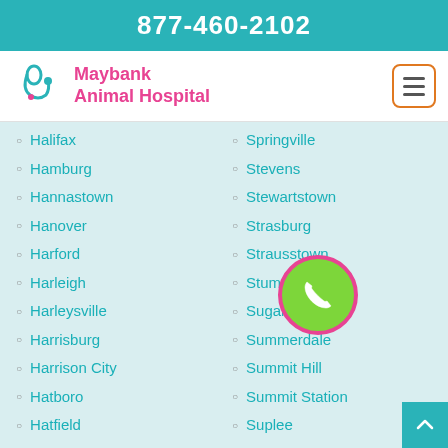877-460-2102
[Figure (logo): Maybank Animal Hospital logo with teal stethoscope icon and pink text]
Halifax
Springville
Hamburg
Stevens
Hannastown
Stewartstown
Hanover
Strasburg
Harford
Strausstown
Harleigh
Stump Creek
Harleysville
Sugarloaf
Harrisburg
Summerdale
Harrison City
Summit Hill
Hatboro
Summit Station
Hatfield
Suplee
Haverford
Swarthmore